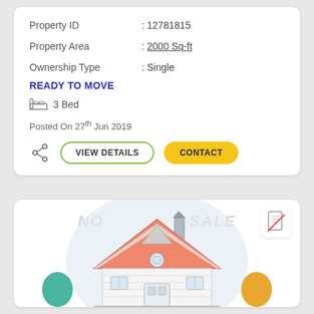Property ID : 12781815
Property Area : 2000 Sq-ft
Ownership Type : Single
READY TO MOVE
3 Bed
Posted On 27th Jun 2019
[Figure (illustration): House illustration with watermark text 'NO SALE' and a no-document icon]
VIEW DETAILS
CONTACT